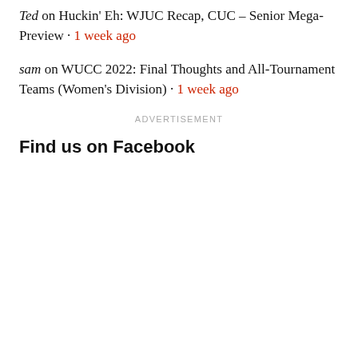Ted on Huckin' Eh: WJUC Recap, CUC – Senior Mega-Preview · 1 week ago
sam on WUCC 2022: Final Thoughts and All-Tournament Teams (Women's Division) · 1 week ago
ADVERTISEMENT
Find us on Facebook